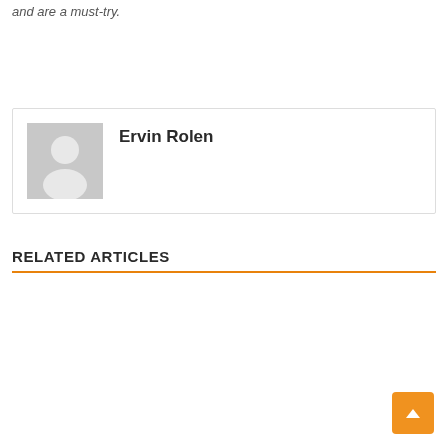and are a must-try.
Ervin Rolen
RELATED ARTICLES